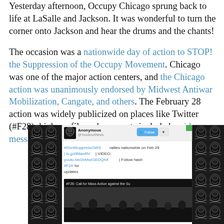Yesterday afternoon, Occupy Chicago sprung back to life at LaSalle and Jackson. It was wonderful to turn the corner onto Jackson and hear the drums and the chants!
The occasion was a nationwide day of action to STOP! the Suppression of the Occupy Movement. Chicago was one of the major action centers, and the Chicago action was unanimously endorsed by Midwest Antiwar Mobilization, Cangate, and others. The February 28 action was widely publicized on places like Twitter (#F28); high-profile endorsements included a video message from Noam Chomsky.
[Figure (screenshot): Screenshot of an Anonymous (@YourAnonNews) tweet: '#DontSuppressOWS rallies nationwide on Feb 28 | is.gd/B8axRV | VIDEO: youtu.be/2xMxzGEDQh4 | Follow hash #F28 for updates' with an embedded video thumbnail showing '#F28: Call for Mass Action against the Su[ppression]'. The tweet is surrounded by a tiled background of Guy Fawkes mask images.]